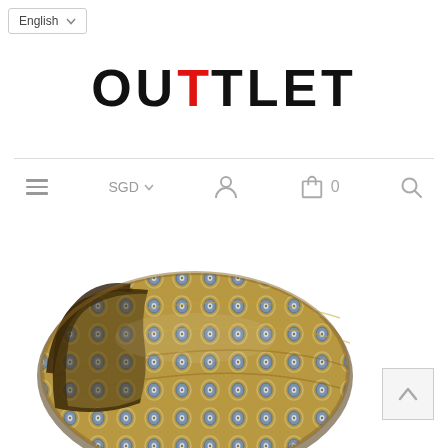[Figure (screenshot): Language selector dropdown showing 'English' with dropdown arrow]
OUTTLET
[Figure (screenshot): Navigation bar with hamburger menu, SGD currency selector, user icon, shopping bag icon with 0 items, and search icon]
[Figure (photo): A rolled/folded necktie with golden/tan background and blue geometric oval pattern, displayed diagonally]